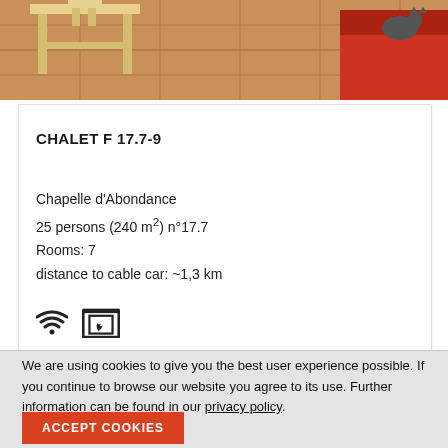[Figure (photo): Interior photo of a chalet showing wooden furniture on tiled floor with orange/red couch visible]
CHALET F 17.7-9
Chapelle d'Abondance
25 persons (240 m²) n°17.7
Rooms: 7
distance to cable car: ~1,3 km
[Figure (infographic): WiFi icon and fireplace/chimney icon indicating amenities]
starting from 2330 €
We are using cookies to give you the best user experience possible. If you continue to browse our website you agree to its use. Further information can be found in our privacy policy.
ACCEPT COOKIES